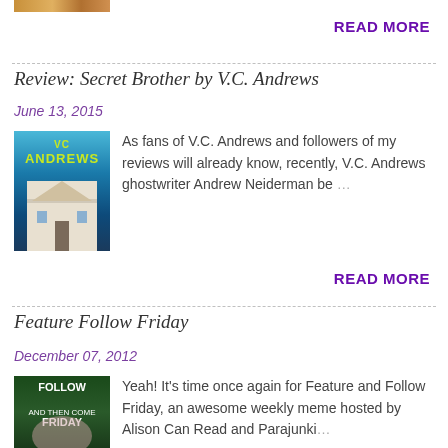[Figure (photo): Partial top image, cropped food/object photo]
READ MORE
Review: Secret Brother by V.C. Andrews
June 13, 2015
[Figure (photo): Book cover for V.C. Andrews Secret Brother, showing a large white mansion against a blue sky]
As fans of V.C. Andrews and followers of my reviews will already know, recently, V.C. Andrews ghostwriter Andrew Neiderman be…
READ MORE
Feature Follow Friday
December 07, 2012
[Figure (photo): Feature and Follow Friday book blog meme image with text FOLLOW FRIDAY on dark green background]
Yeah! It's time once again for Feature and Follow Friday, an awesome weekly meme hosted by Alison Can Read and Parajunki…